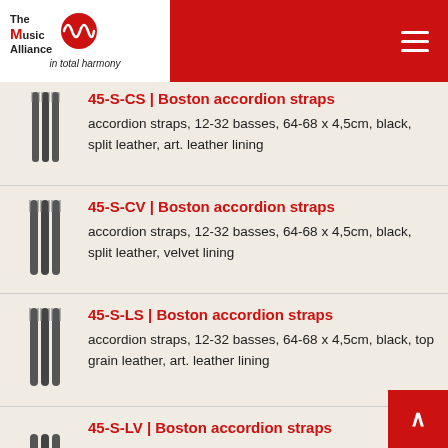The Music Alliance – in total harmony
45-S-CS | Boston accordion straps
accordion straps, 12-32 basses, 64-68 x 4,5cm, black, split leather, art. leather lining
45-S-CV | Boston accordion straps
accordion straps, 12-32 basses, 64-68 x 4,5cm, black, split leather, velvet lining
45-S-LS | Boston accordion straps
accordion straps, 12-32 basses, 64-68 x 4,5cm, black, top grain leather, art. leather lining
45-S-LV | Boston accordion straps